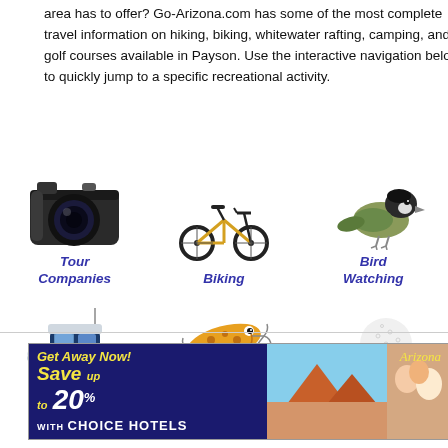area has to offer? Go-Arizona.com has some of the most complete travel information on hiking, biking, whitewater rafting, camping, and golf courses available in Payson. Use the interactive navigation below to quickly jump to a specific recreational activity.
[Figure (illustration): Grid of 6 recreational activity icons arranged in 2 rows of 3. Row 1: camera (Tour Companies), bicycle (Biking), bird (Bird Watching). Row 2: boat (Boating), fishing lure (Fishing), golf ball on tee (Golfing). Each icon has a blue italic bold label below it.]
[Figure (illustration): Banner advertisement: 'Get Away Now! Save up to 20% with Choice Hotels' on dark blue background with Arizona landscape and family photo.]